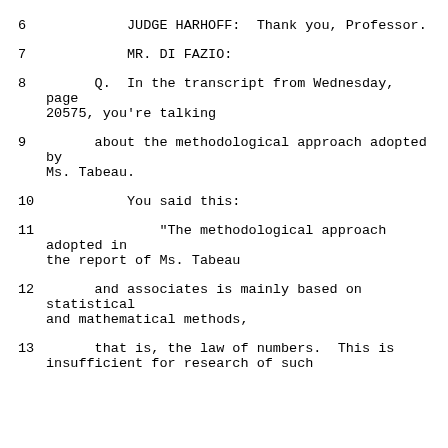6    JUDGE HARHOFF:  Thank you, Professor.
7    MR. DI FAZIO:
8    Q.  In the transcript from Wednesday, page 20575, you're talking
9    about the methodological approach adopted by Ms. Tabeau.
10   You said this:
11   "The methodological approach adopted in the report of Ms. Tabeau
12   and associates is mainly based on statistical and mathematical methods,
13   that is, the law of numbers.  This is insufficient for research of such